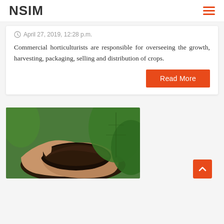NSIM
April 27, 2019, 12:28 p.m.
Commercial horticulturists are responsible for overseeing the growth, harvesting, packaging, selling and distribution of crops.
Read More
[Figure (photo): Hands holding dark soil with green plant leaves in background]